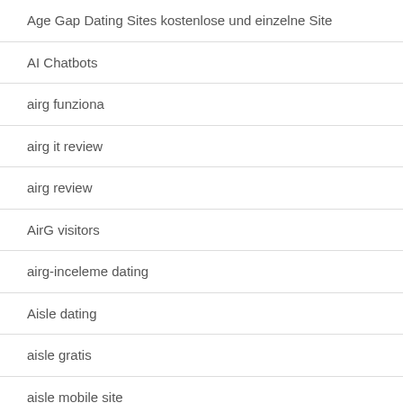Age Gap Dating Sites kostenlose und einzelne Site
AI Chatbots
airg funziona
airg it review
airg review
AirG visitors
airg-inceleme dating
Aisle dating
aisle gratis
aisle mobile site